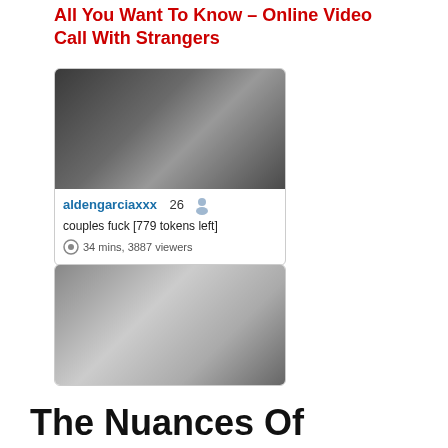All You Want To Know – Online Video Call With Strangers
[Figure (screenshot): Screenshot of a live streaming card showing a couple, username aldengarciaxxx, 26 viewers icon, description 'couples fuck [779 tokens left]', 34 mins, 3887 viewers]
[Figure (photo): Screenshot of an adult content thumbnail image]
The Nuances Of